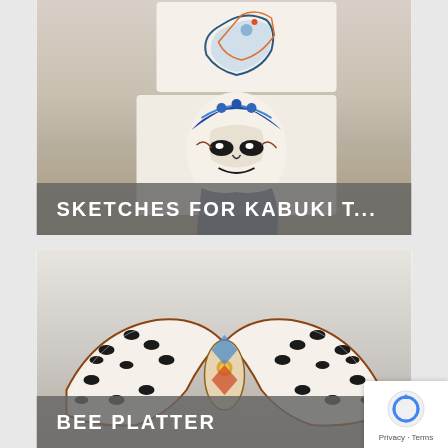[Figure (photo): Two ceramic tiles stacked, decorated with Japanese-style illustrations including a dragon on top tile and a Kabuki theater mask/face on lower tile, displayed against a white wall]
SKETCHES FOR KABUKI T...
[Figure (photo): A ceramic bee platter shaped like a large leaf or wing, white with black bee decorations and colorful accents at the center joint, displayed against a light gray background]
BEE PLATTER